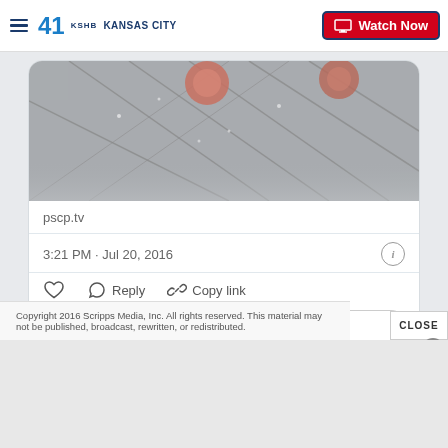41 KSHB KANSAS CITY | Watch Now
[Figure (screenshot): Close-up video thumbnail showing metallic grid/mesh surface with rounded pink-orange objects (appears to be a Periscope/pscp.tv livestream thumbnail)]
pscp.tv
3:21 PM · Jul 20, 2016
Reply   Copy link
Read 2 replies
Copyright 2016 Scripps Media, Inc. All rights reserved. This material may not be published, broadcast, rewritten, or redistributed.